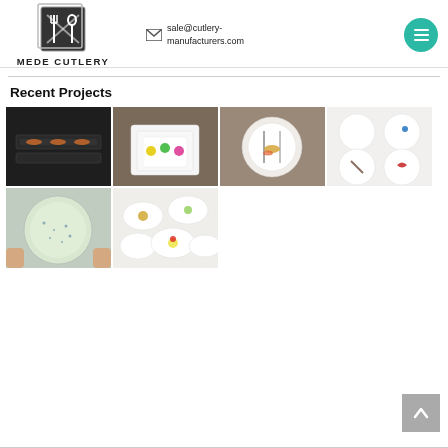[Figure (logo): Mede Cutlery logo: dark square with crossed fork and spoon icon above the text MEDE CUTLERY]
sale@cutlery-manufacturers.com
[Figure (illustration): Teal circular hamburger menu button]
Recent Projects
[Figure (photo): Black rectangular serving trays with sushi on dark background]
[Figure (photo): White square plates stacked with colorful macarons on wooden table]
[Figure (photo): Round white plate with cutlery and food arrangement, aerial view]
[Figure (photo): Four white round plates with illustrated designs on white background]
[Figure (photo): Hands holding a large round plate with speckled blue pattern]
[Figure (photo): Multiple oval white plates with food arranged on light background]